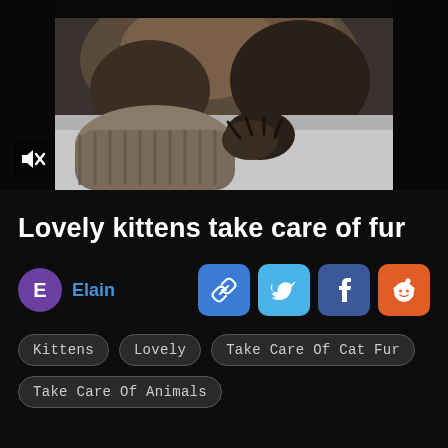[Figure (photo): Close-up video thumbnail of a fluffy brown/grey kitten with claws visible on a white surface, dark background, mute icon in lower left corner]
Lovely kittens take care of fur
E  Elain
Kittens
Lovely
Take Care Of Cat Fur
Take Care Of Animals